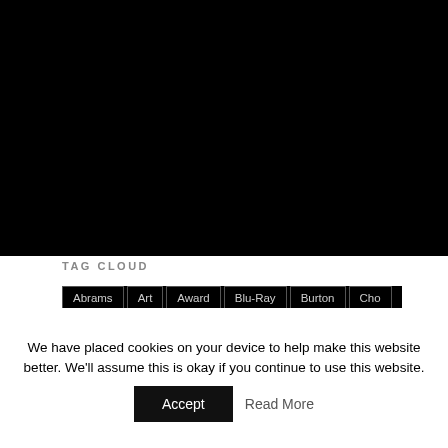TAG CLOUD
Abrams
Art
Award
Blu-Ray
Burton
Cho
Comic
Comics
contest
convention
Conventions
Cumberbatch
DVD
Frakes
game
Gaming
IDW
Publishing
Kirk
Kurtzman
Mulgrew
Nichols
Nimoy
We have placed cookies on your device to help make this website better. We'll assume this is okay if you continue to use this website.
Accept
Read More